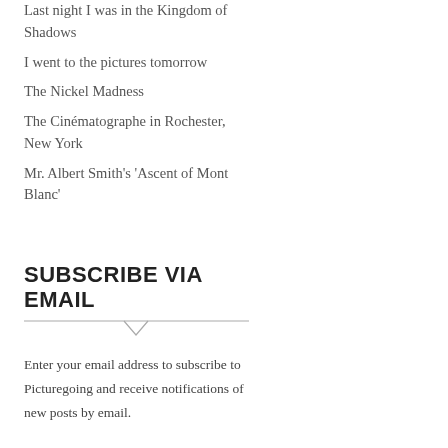Last night I was in the Kingdom of Shadows
I went to the pictures tomorrow
The Nickel Madness
The Cinématographe in Rochester, New York
Mr. Albert Smith's 'Ascent of Mont Blanc'
SUBSCRIBE VIA EMAIL
Enter your email address to subscribe to Picturegoing and receive notifications of new posts by email.